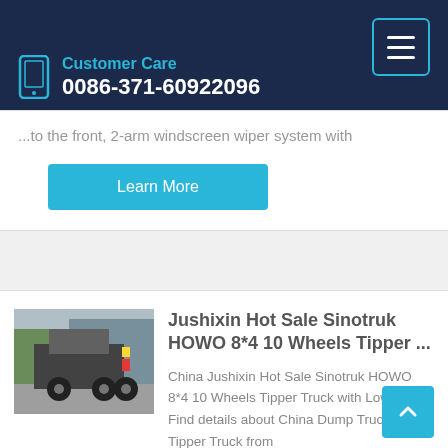Customer Care 0086-371-60922096
... to the front, 2-arm windscreen wiper system with
Learn More
Jushixin Hot Sale Sinotruk HOWO 8*4 10 Wheels Tipper ...
China Jushixin Hot Sale Sinotruk HOWO 8*4 10 Wheels Tipper Truck with Low Price, Find details about China Dump Truck, Tipper Truck from